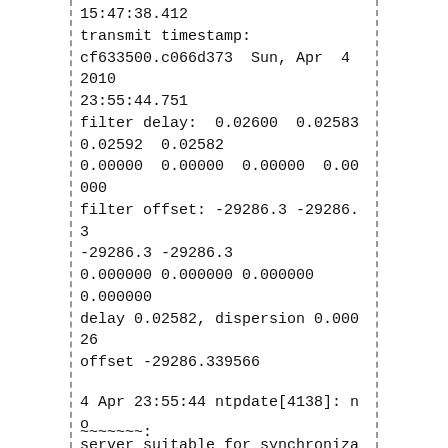15:47:38.412
transmit timestamp:
cf633500.c066d373  Sun, Apr  4 2010
23:55:44.751
filter delay:  0.02600  0.02583
0.02592  0.02582
0.00000  0.00000  0.00000  0.00000
filter offset: -29286.3 -29286.3
-29286.3 -29286.3
0.000000 0.000000 0.000000
0.000000
delay 0.02582, dispersion 0.00026
offset -29286.339566
4 Apr 23:55:44 ntpdate[4138]: no
server suitable for synchronization
found
~~~~~~~: